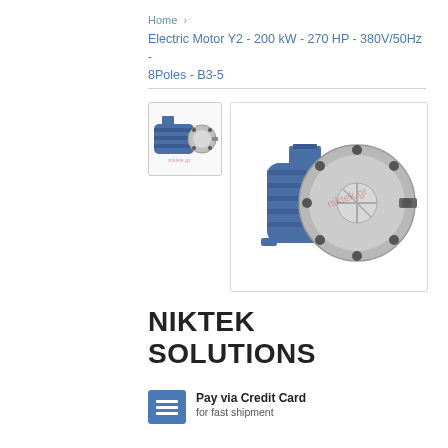Home > Electric Motor Y2 - 200 kW - 270 HP - 380V/50Hz - 8Poles - B3-5
[Figure (photo): Thumbnail image of a blue electric motor Y2 with silver flange]
[Figure (photo): Main product image of a blue electric motor Y2 - 200 kW with circular silver flange and shaft, viewed from the front-side angle]
NIKTEK SOLUTIONS
Pay via Credit Card
for fast shipment